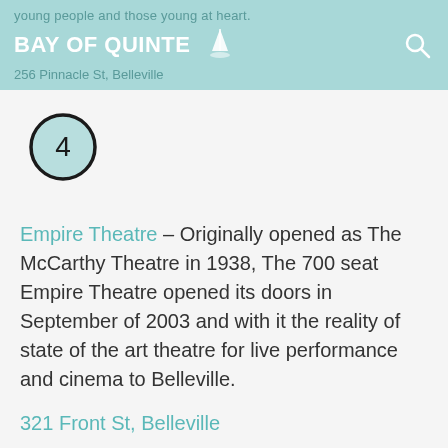young people and those young at heart. BAY OF QUINTE 256 Pinnacle St, Belleville
[Figure (other): Number 4 inside a circle with teal fill and black border]
Empire Theatre – Originally opened as The McCarthy Theatre in 1938, The 700 seat Empire Theatre opened its doors in September of 2003 and with it the reality of state of the art theatre for live performance and cinema to Belleville.
321 Front St, Belleville